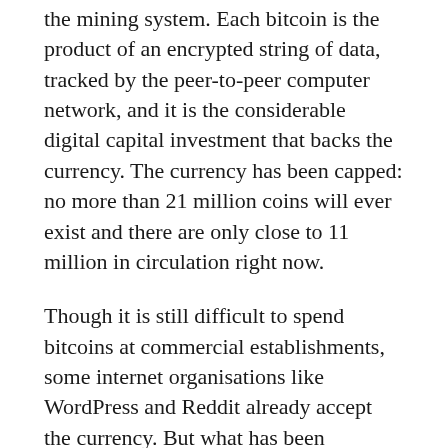the mining system. Each bitcoin is the product of an encrypted string of data, tracked by the peer-to-peer computer network, and it is the considerable digital capital investment that backs the currency. The currency has been capped: no more than 21 million coins will ever exist and there are only close to 11 million in circulation right now.
Though it is still difficult to spend bitcoins at commercial establishments, some internet organisations like WordPress and Reddit already accept the currency. But what has been particularly appealing for observers and bitcoin enthusiasts is its potential for investment and currency trading. Already investors, namely the Winklevoss twins, have revealed plans for a fund based on the digital currency. The Bitcoin